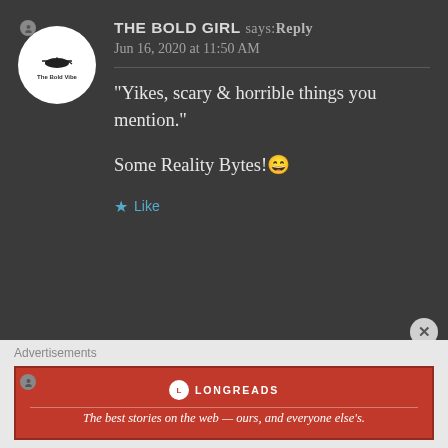THE BOLD GIRL says: Reply
Jun 16, 2020 at 11:50 AM
“Yikes, scary & horrible things you mention.”

Some Reality Bytes!😄
★ Like
DUNCAN LORY says: Reply
Jun 16, 2020 at 11:51 AM
Advertisements
[Figure (infographic): Longreads advertisement banner: red background with Longreads logo and tagline 'The best stories on the web — ours, and everyone else’s.']